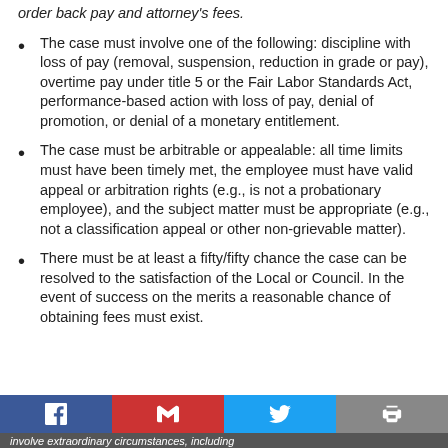order back pay and attorney's fees.
The case must involve one of the following: discipline with loss of pay (removal, suspension, reduction in grade or pay), overtime pay under title 5 or the Fair Labor Standards Act, performance-based action with loss of pay, denial of promotion, or denial of a monetary entitlement.
The case must be arbitrable or appealable: all time limits must have been timely met, the employee must have valid appeal or arbitration rights (e.g., is not a probationary employee), and the subject matter must be appropriate (e.g., not a classification appeal or other non-grievable matter).
There must be at least a fifty/fifty chance the case can be resolved to the satisfaction of the Local or Council. In the event of success on the merits a reasonable chance of obtaining fees must exist.
involve extraordinary circumstances, including